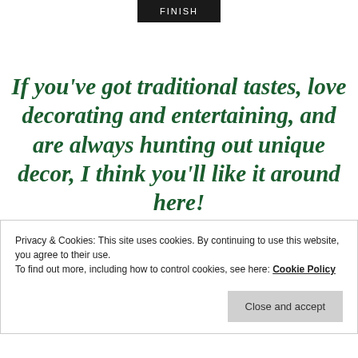[Figure (other): Black button with white uppercase text reading FINISH]
If you've got traditional tastes, love decorating and entertaining, and are always hunting out unique decor, I think you'll like it around here!
Privacy & Cookies: This site uses cookies. By continuing to use this website, you agree to their use.
To find out more, including how to control cookies, see here: Cookie Policy
Close and accept